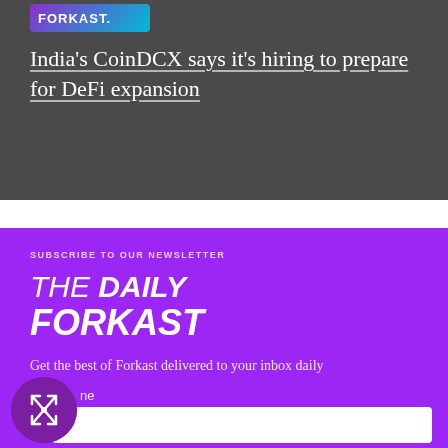[Figure (logo): Forkast logo bar with purple-cyan gradient background and white text]
India's CoinDCX says it's hiring to prepare for DeFi expansion
SUBSCRIBE TO OUR NEWSLETTER
THE DAILY FORKAST
Get the best of Forkast delivered to your inbox daily
name
[Figure (logo): Forkast circular logo icon with white compass/arrow design on purple background]